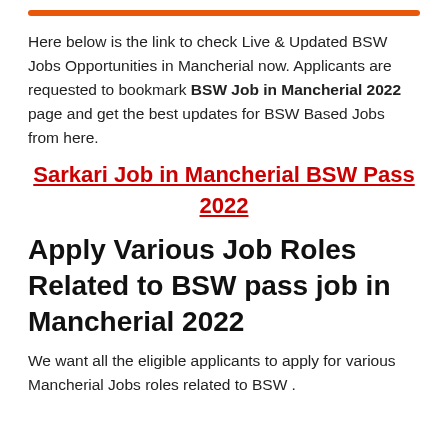Here below is the link to check Live & Updated BSW Jobs Opportunities in Mancherial now. Applicants are requested to bookmark BSW Job in Mancherial 2022 page and get the best updates for BSW Based Jobs from here.
Sarkari Job in Mancherial BSW Pass 2022
Apply Various Job Roles Related to BSW pass job in Mancherial 2022
We want all the eligible applicants to apply for various Mancherial Jobs roles related to BSW .